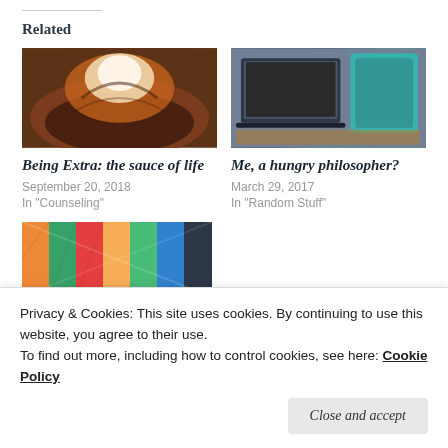Related
[Figure (photo): Close-up photo of chocolate sauce being poured, with cream, in a bowl]
Being Extra: the sauce of life
September 20, 2018
In "Counseling"
[Figure (photo): Photo of a teal mug next to a laptop and an open notebook on a wooden desk]
Me, a hungry philosopher?
March 29, 2017
In "Random Stuff"
[Figure (photo): Colorful geometric pattern image, partially visible]
Privacy & Cookies: This site uses cookies. By continuing to use this website, you agree to their use.
To find out more, including how to control cookies, see here: Cookie Policy
Close and accept